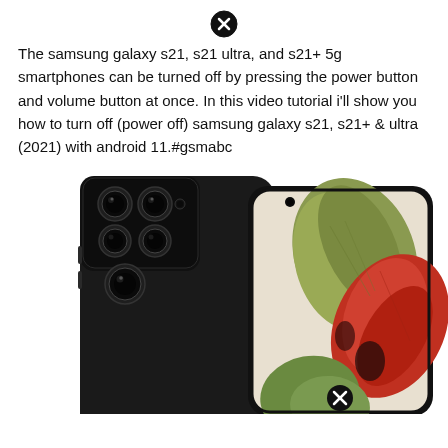[Figure (other): Close/dismiss X button icon at top center]
The samsung galaxy s21, s21 ultra, and s21+ 5g smartphones can be turned off by pressing the power button and volume button at once. In this video tutorial i'll show you how to turn off (power off) samsung galaxy s21, s21+ & ultra (2021) with android 11.#gsmabc
[Figure (photo): Samsung Galaxy S21 Ultra smartphone shown from two angles: back showing camera module with multiple lenses, and front showing colorful flower wallpaper on screen. A close/dismiss X button icon is overlaid at the bottom center.]